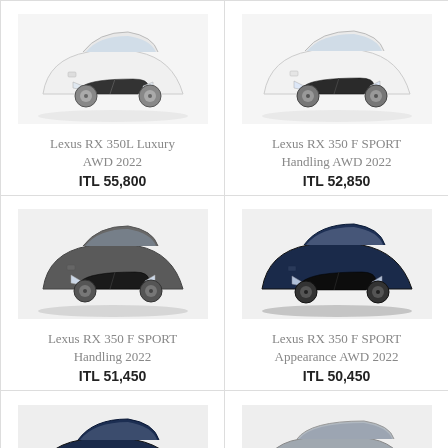[Figure (photo): White Lexus RX 350L Luxury AWD 2022 SUV front three-quarter view]
Lexus RX 350L Luxury AWD 2022
ITL 55,800
[Figure (photo): White Lexus RX 350 F SPORT Handling AWD 2022 SUV front three-quarter view]
Lexus RX 350 F SPORT Handling AWD 2022
ITL 52,850
[Figure (photo): Dark grey Lexus RX 350 F SPORT Handling 2022 SUV front three-quarter view]
Lexus RX 350 F SPORT Handling 2022
ITL 51,450
[Figure (photo): Dark blue Lexus RX 350 F SPORT Appearance AWD 2022 SUV front three-quarter view]
Lexus RX 350 F SPORT Appearance AWD 2022
ITL 50,450
[Figure (photo): Dark blue Lexus RX 350 SUV front three-quarter view (partially visible)]
[Figure (photo): Silver/grey large Lexus LX SUV front three-quarter view (partially visible)]